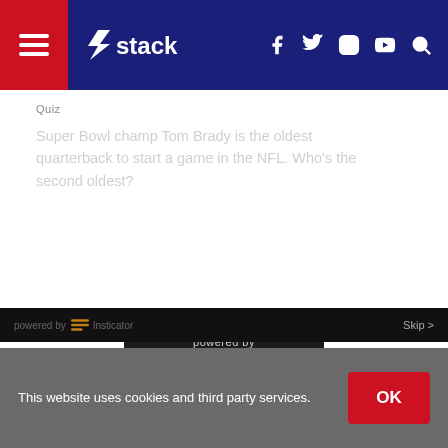stack — navigation with social icons (Facebook, Twitter, Instagram, YouTube, Search)
Quiz
Super Bowl champ Tom Brady is the oldest quarterback to start a game in the NFL. Who's the second oldest?
[Figure (logo): Stack logo (white lightning bolt S + 'stack' text) overlaid on dark quiz panel]
Vinny Testaverde
Steve DeBerg
Warren Moon
Doug Flutie
powered by Insticator
powered by Insticator  Skip >
This website uses cookies and third party services.
OK